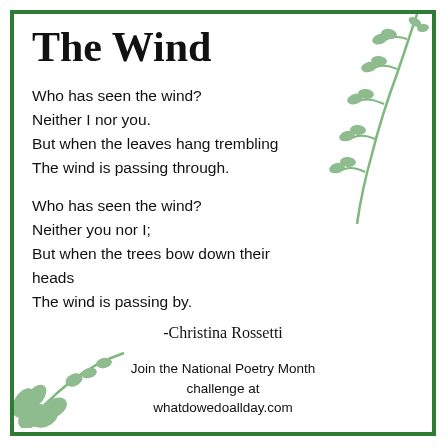The Wind
Who has seen the wind?
Neither I nor you.
But when the leaves hang trembling
The wind is passing through.

Who has seen the wind?
Neither you nor I;
But when the trees bow down their heads
The wind is passing by.
-Christina Rossetti
Join the National Poetry Month challenge at whatdowedoallday.com